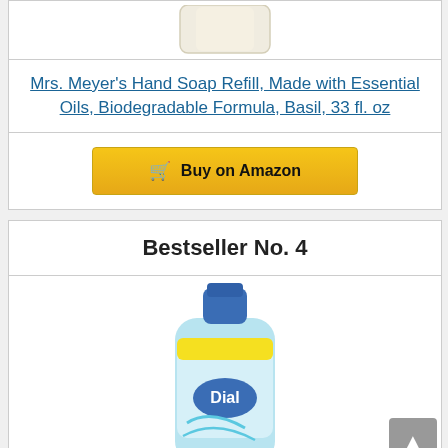[Figure (photo): Mrs. Meyer's Hand Soap Refill bottle (partial, top of card, cream/white colored bottle)]
Mrs. Meyer's Hand Soap Refill, Made with Essential Oils, Biodegradable Formula, Basil, 33 fl. oz
Buy on Amazon
Bestseller No. 4
[Figure (photo): Dial hand soap refill bottle, light blue color with blue cap, Dial logo visible]